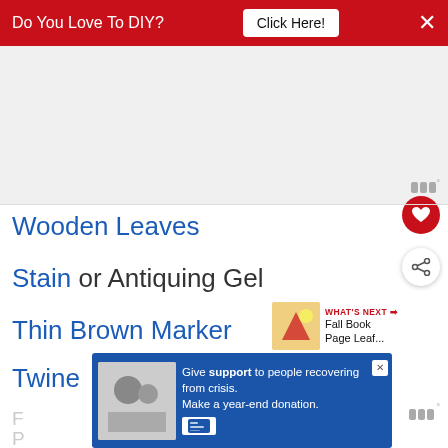Do You Love To DIY? Click Here!
[Figure (other): Large advertisement whitespace area]
Wooden Leaves
Stain or Antiquing Gel
Thin Brown Marker
Twine
[Figure (other): What's Next thumbnail: Fall Book Page Leaf...]
[Figure (other): Bottom advertisement: Give support to people recovering from crisis. Make a year-end donation.]